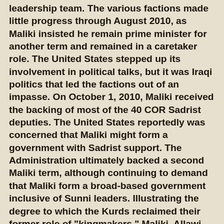leadership team.  The various factions made little progress through August 2010, as Maliki insisted he remain prime minister for another term and remained in a caretaker role.  The United States stepped up its involvement in political talks, but it was Iraqi politics that led the factions out of an impasse.  On October 1, 2010, Maliki received the backing of most of the 40 COR Sadrist deputies.  The United States reportedly was concerned that Maliki might form a government with Sadrist support.  The Administration ultimately backed a second Maliki term, although continuing to demand that Maliki form a broad-based government inclusive of Sunni leaders.  Illustrating the degree to which the Kurds reclaimed their former role of "kingmakers," Maliki, Allawi, and other Iraqi leaders met in the capital of the Kurdistan Regional Government-administered region in Irbil on November 8, 2010, to continue to negotiate on a new government.  (Sadr did not